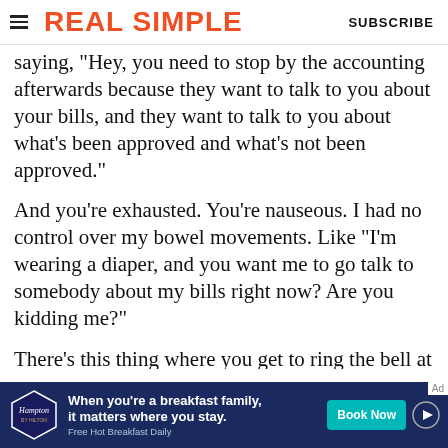REAL SIMPLE | SUBSCRIBE
saying, "Hey, you need to stop by the accounting afterwards because they want to talk to you about your bills, and they want to talk to you about what's been approved and what's not been approved."
And you're exhausted. You're nauseous. I had no control over my bowel movements. Like "I'm wearing a diaper, and you want me to go talk to somebody about my bills right now? Are you kidding me?"
There's this thing where you get to ring the bell at the end of treatment, and it's like this
[Figure (screenshot): Hampton by Hilton advertisement banner: 'When you're a breakfast family, it matters where you stay. Book Now. Free Hot Breakfast Daily.']